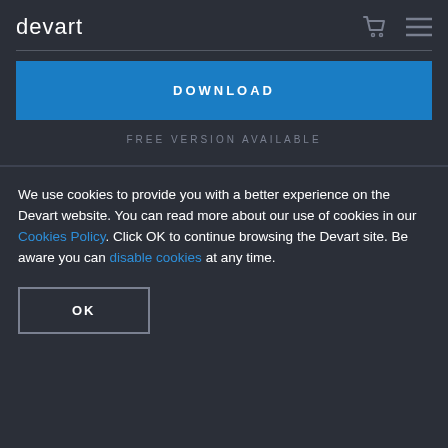[Figure (logo): Devart logo text in white on dark background]
DOWNLOAD
FREE VERSION AVAILABLE
We use cookies to provide you with a better experience on the Devart website. You can read more about our use of cookies in our Cookies Policy. Click OK to continue browsing the Devart site. Be aware you can disable cookies at any time.
OK